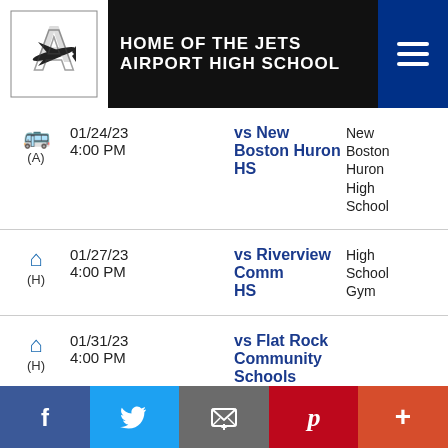HOME OF THE JETS
AIRPORT HIGH SCHOOL
| Type | Date/Time | Opponent | Location |
| --- | --- | --- | --- |
| (A) | 01/24/23 4:00 PM | vs New Boston Huron HS | New Boston Huron High School |
| (H) | 01/27/23 4:00 PM | vs Riverview Comm HS | High School Gym |
| (H) | 01/31/23 4:00 PM | vs Flat Rock Community Schools |  |
| (A) | 02/03/23 4:00 PM | vs Milan HS |  |
Facebook | Twitter | Email | Pinterest | More